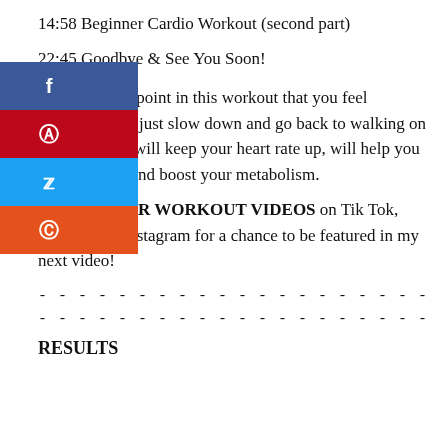14:58 Beginner Cardio Workout (second part)
22:45 Goodbye & See You Soon!
If there is any point in this workout that you feel overwhelmed, just slow down and go back to walking on the spot. This will keep your heart rate up, will help you burn calories and boost your metabolism.
SHARE YOUR WORKOUT VIDEOS on Tik Tok, YouTube or Instagram for a chance to be featured in my next video!
--------------------------------------------
--------------------------------------------
RESULTS